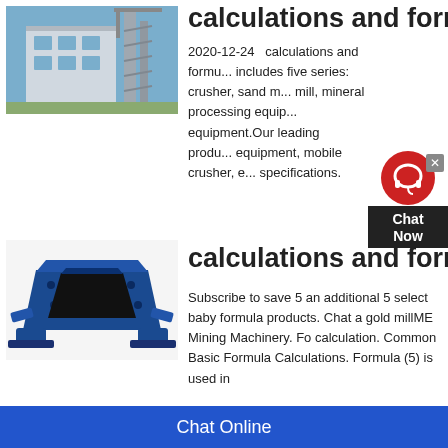calculations and formula
[Figure (photo): Industrial building/plant with metal structure and scaffolding against blue sky]
2020-12-24   calculations and formu... includes five series: crusher, sand m... mill, mineral processing equip... equipment.Our leading produ... equipment, mobile crusher, e... specifications.
[Figure (photo): Blue industrial crushing machine/jaw crusher equipment]
calculations and formula
Subscribe to save 5 an additional 5 select baby formula products. Chat a gold millME Mining Machinery. Fo calculation. Common Basic Formula Calculations. Formula (5) is used in
Chat Online